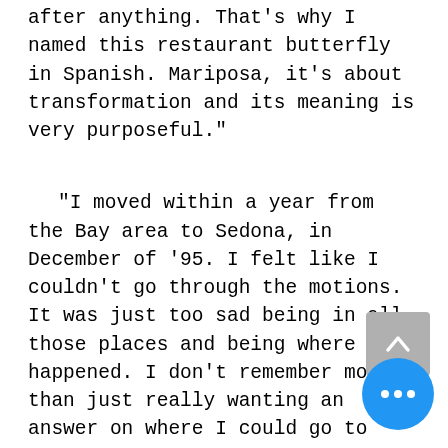after anything. That's why I named this restaurant butterfly in Spanish. Mariposa, it's about transformation and its meaning is very purposeful."
"I moved within a year from the Bay area to Sedona, in December of '95. I felt like I couldn't go through the motions. It was just too sad being in all those places and being where it happened. I don't remember more than just really wanting an answer on where I could go to feel comfortable and to begin to go through the healing process. I'd been to Sedona once before, but I never envisioned Arizona as a place that I would live. Sedona is different though, and it is very healing."